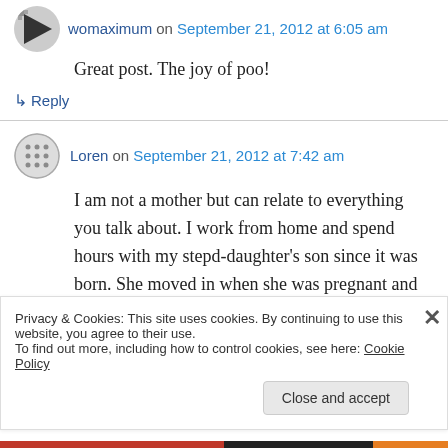womaximum on September 21, 2012 at 6:05 am
Great post. The joy of poo!
↳ Reply
Loren on September 21, 2012 at 7:42 am
I am not a mother but can relate to everything you talk about. I work from home and spend hours with my stepd-daughter's son since it was born. She moved in when she was pregnant and
Privacy & Cookies: This site uses cookies. By continuing to use this website, you agree to their use. To find out more, including how to control cookies, see here: Cookie Policy
Close and accept